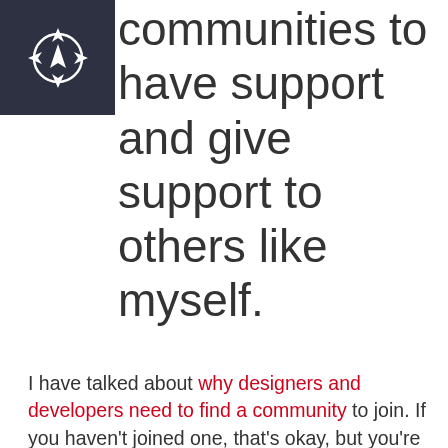[Figure (logo): Dark navy square logo with a compass/navigation icon (circle with arrow pointing up, surrounded by directional points)]
communities to have support and give support to others like myself.
I have talked about why designers and developers need to find a community to join. If you haven't joined one, that's okay, but you're missing out on the wonderful things that can come out of it. Like my friends across various communities:
Timo Keurentjes: who is a crazy talented developer with a not-so-secret love for many things Javascript.
Tyrel Chambers: Who was my first client we grew together sharing